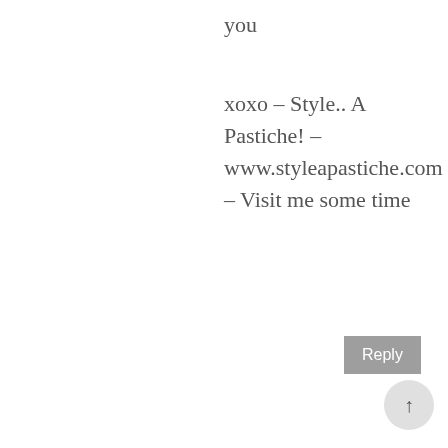you
xoxo - Style.. A Pastiche! - www.styleapastiche.com - Visit me some time
Reply
[Figure (logo): Orange circular Blogger avatar icon with white B letter]
UNKNOWN
19 January 2016 at 00:50
Greece and Turkey are so high on our list :) Have already bookmarked your